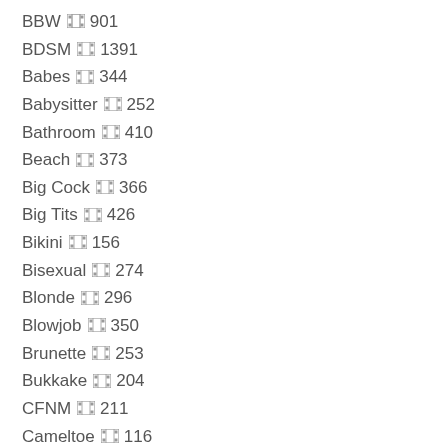BBW 🎞 901
BDSM 🎞 1391
Babes 🎞 344
Babysitter 🎞 252
Bathroom 🎞 410
Beach 🎞 373
Big Cock 🎞 366
Big Tits 🎞 426
Bikini 🎞 156
Bisexual 🎞 274
Blonde 🎞 296
Blowjob 🎞 350
Brunette 🎞 253
Bukkake 🎞 204
CFNM 🎞 211
Cameltoe 🎞 116
Car 🎞 237